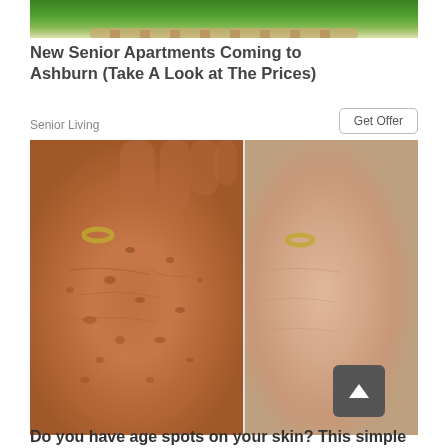[Figure (photo): Top portion of a photo showing green grass/lawn area with a brick path, partially cropped at the top]
New Senior Apartments Coming to Ashburn (Take A Look at The Prices)
Senior Living
Get Offer
[Figure (photo): Before and after comparison photos of elderly hands with age spots. Left image shows a hand with visible brown age spots and wrinkled skin. Right image shows a hand with smoother, clearer skin tone.]
Do you have age spots on your skin? This simple